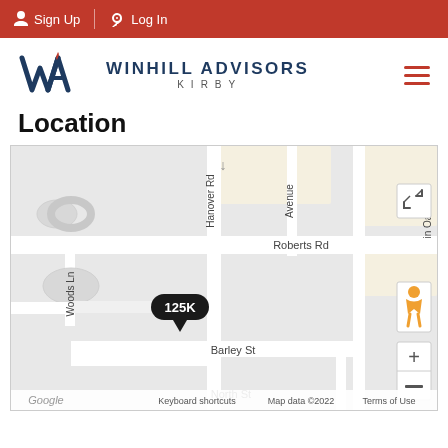Sign Up | Log In
[Figure (logo): Winhill Advisors Kirby logo with WA monogram in dark blue and red flame accent, company name in dark blue caps]
Location
[Figure (map): Google Maps street map showing Roberts Rd, Woods Ln, Barley St, North St, Hanover Rd, and Oak Rd area with a 125K price marker pin at the property location]